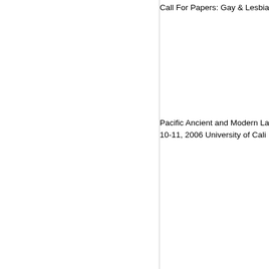Call For Papers: Gay & Lesbia...
Pacific Ancient and Modern La...
10-11, 2006 University of Cali...
Submission Deadline: May 15...
Paper proposals are requeste...
While the panel is open to any...
particularly interested in pape...